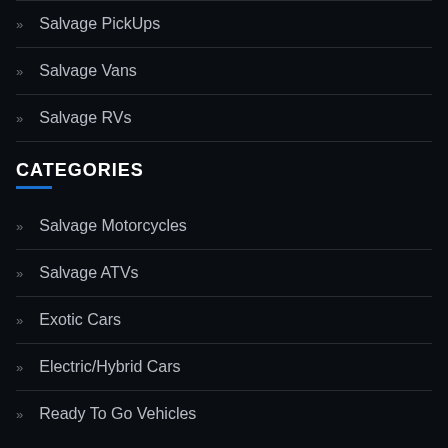Salvage PickUps
Salvage Vans
Salvage RVs
CATEGORIES
Salvage Motorcycles
Salvage ATVs
Exotic Cars
Electric/Hybrid Cars
Ready To Go Vehicles